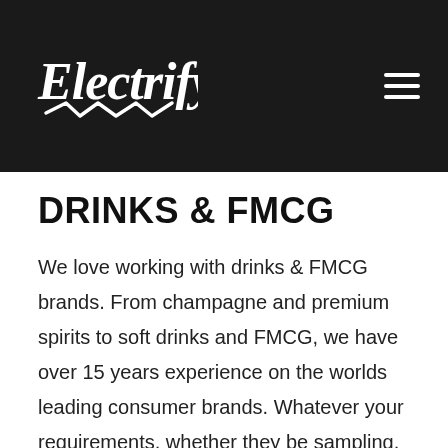[Figure (logo): Electrify logo in white script/cursive font with lightning bolt underline, on black background. Hamburger menu icon (three horizontal white lines) in top right corner.]
DRINKS & FMCG
We love working with drinks & FMCG brands. From champagne and premium spirits to soft drinks and FMCG, we have over 15 years experience on the worlds leading consumer brands. Whatever your requirements, whether they be sampling, POS, on-trade, in-store, guerrilla or an international roadshow